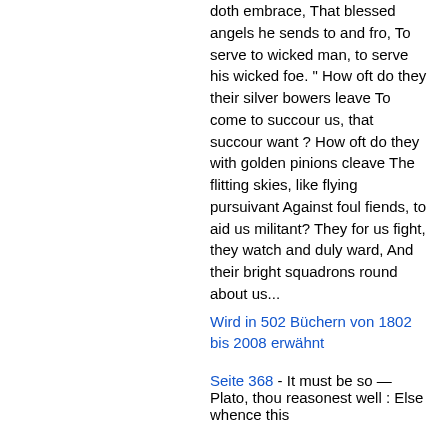doth embrace, That blessed angels he sends to and fro, To serve to wicked man, to serve his wicked foe. " How oft do they their silver bowers leave To come to succour us, that succour want ? How oft do they with golden pinions cleave The flitting skies, like flying pursuivant Against foul fiends, to aid us militant? They for us fight, they watch and duly ward, And their bright squadrons round about us...
Wird in 502 Büchern von 1802 bis 2008 erwähnt
Seite 368 - It must be so — Plato, thou reasonest well : Else whence this